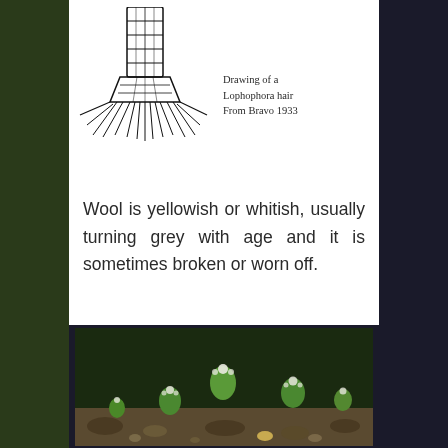[Figure (illustration): Line drawing of a Lophophora hair from Bravo 1933, showing a single hair structure with a widened base and fibrous root-like extensions]
Drawing of a Lophophora hair From Bravo 1933
Wool is yellowish or whitish, usually turning grey with age and it is sometimes broken or worn off.
[Figure (photo): Photograph of small green Lophophora seedlings growing among rocks and soil, with white woolly tufts visible on the plants]